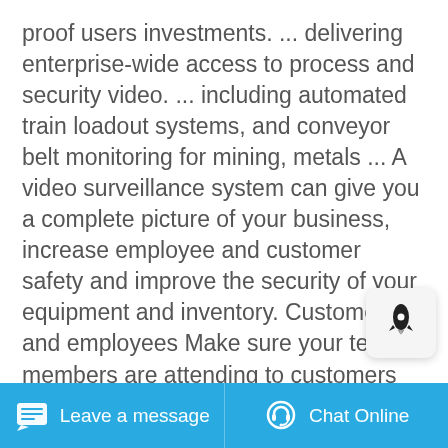proof users investments. ... delivering enterprise-wide access to process and security video. ... including automated train loadout systems, and conveyor belt monitoring for mining, metals ... A video surveillance system can give you a complete picture of your business, increase employee and customer safety and improve the security of your equipment and inventory. Customers and employees Make sure your team members are attending to customers while creating a safe environment. Inventory and equipment Help protect against theft and ...
[Figure (other): A blue 'Get Price' button]
[Figure (other): A rocket icon popup widget on a light gray rounded rectangle background]
[Figure (photo): A partial image strip at the bottom of the main content area showing two partially visible images side by side]
Leave a message   Chat Online